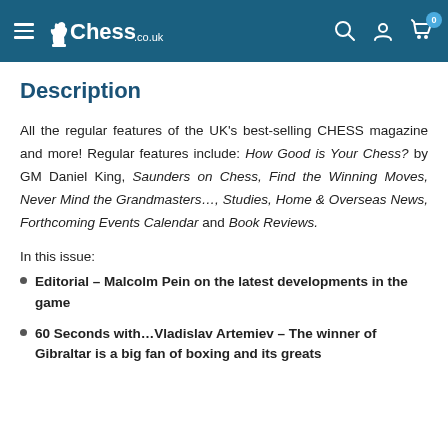Chess.co.uk
Description
All the regular features of the UK's best-selling CHESS magazine and more! Regular features include: How Good is Your Chess? by GM Daniel King, Saunders on Chess, Find the Winning Moves, Never Mind the Grandmasters…, Studies, Home & Overseas News, Forthcoming Events Calendar and Book Reviews.
In this issue:
Editorial – Malcolm Pein on the latest developments in the game
60 Seconds with…Vladislav Artemiev – The winner of Gibraltar is a big fan of boxing and its greats